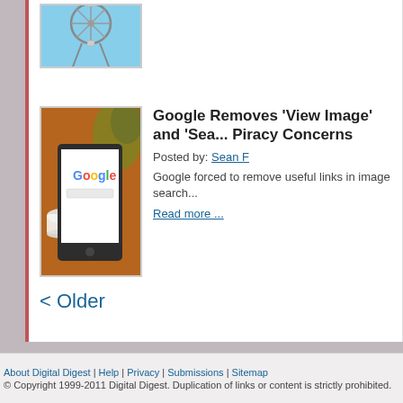[Figure (photo): Partial thumbnail of a Ferris wheel against blue sky, top of page, cropped]
[Figure (photo): Tablet showing Google search page on a desk with coffee cup]
Google Removes 'View Image' and 'Sea... Piracy Concerns
Posted by: Sean F
Google forced to remove useful links in image search...
Read more ...
< Older
About Digital Digest | Help | Privacy | Submissions | Sitemap
© Copyright 1999-2011 Digital Digest. Duplication of links or content is strictly prohibited.